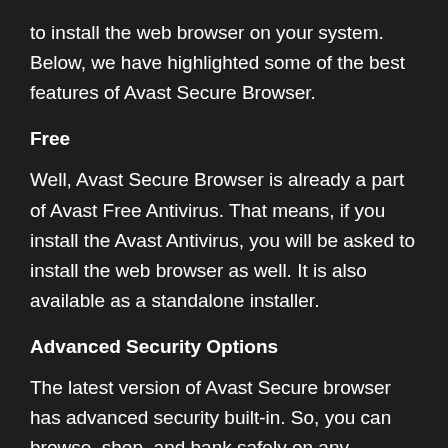to install the web browser on your system. Below, we have highlighted some of the best features of Avast Secure Browser.
Free
Well, Avast Secure Browser is already a part of Avast Free Antivirus. That means, if you install the Avast Antivirus, you will be asked to install the web browser as well. It is also available as a standalone installer.
Advanced Security Options
The latest version of Avast Secure browser has advanced security built-in. So, you can browse, shop, and bank safely on any website. You don't need to worry about any security issues.